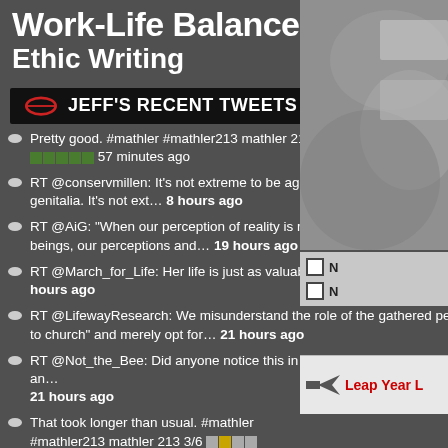Work-Life Balance Work Ethic Writing
JEFF'S RECENT TWEETS
Pretty good. #mathler #mathler213 mathler 213 3/6 [colored squares] 57 minutes ago
RT @conservmillen: It's not extreme to be against murdering babies. It's not extreme to be against mutilating kids' genitalia. It's not ext… 8 hours ago
RT @AiG: "When our perception of reality is refuted by God's Word, we need to change our perception. As sinful beings, our perceptions and… 19 hours ago
RT @March_for_Life: Her life is just as valuable in the first picture as it is in the second. https://t.co/fqlxwDirnT 21 hours ago
RT @LifewayResearch: We misunderstand the role of the gathered people of God if we think we can forego "going to church" and merely opt for… 21 hours ago
RT @Not_the_Bee: Did anyone notice this in that viral gay Mormon missionary video? notthebee.com/article/did-an… 21 hours ago
That took longer than usual. #mathler #mathler213 mathler 213 3/6 [squares]
[Figure (screenshot): Gray rocky/cloudy background image on right side panel]
N
N
Leap Year L